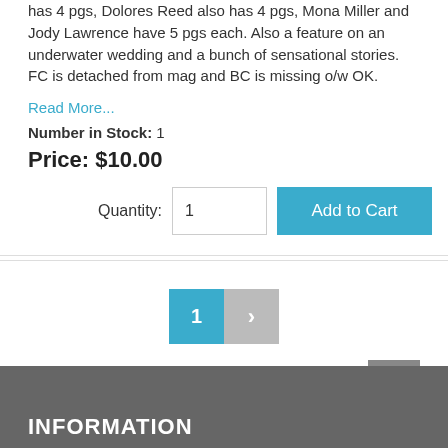has 4 pgs, Dolores Reed also has 4 pgs, Mona Miller and Jody Lawrence have 5 pgs each. Also a feature on an underwater wedding and a bunch of sensational stories. FC is detached from mag and BC is missing o/w OK.
Read More...
Number in Stock: 1
Price: $10.00
Quantity: 1  Add to Cart
1  >
INFORMATION